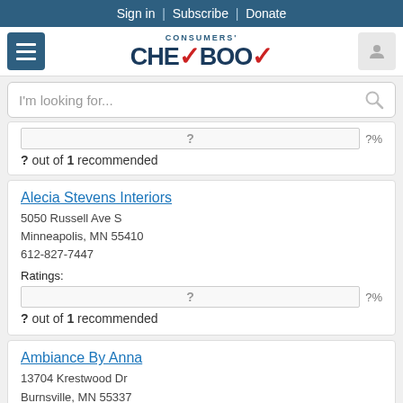Sign in | Subscribe | Donate
[Figure (logo): Consumers' Checkbook logo with red checkmark]
I'm looking for...
? out of 1 recommended
Alecia Stevens Interiors
5050 Russell Ave S
Minneapolis, MN 55410
612-827-7447
Ratings:
? out of 1 recommended
Ambiance By Anna
13704 Krestwood Dr
Burnsville, MN 55337
952-457-0107